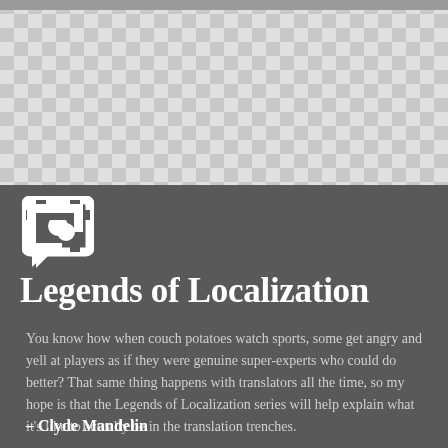[Figure (logo): Legends of Localization logo icon — a stylized bracket/chat bubble with a circular element inside, white on dark background]
Legends of Localization
You know how when couch potatoes watch sports, some get angry and yell at players as if they were genuine super-experts who could do better? That same thing happens with translators all the time, so my hope is that the Legends of Localization series will help explain what it's like to actually be in the translation trenches.
– Clyde Mandelin